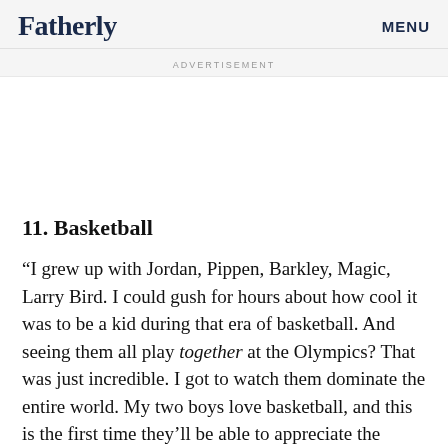Fatherly   MENU
ADVERTISEMENT
11. Basketball
“I grew up with Jordan, Pippen, Barkley, Magic, Larry Bird. I could gush for hours about how cool it was to be a kid during that era of basketball. And seeing them all play together at the Olympics? That was just incredible. I got to watch them dominate the entire world. My two boys love basketball, and this is the first time they’ll be able to appreciate the coming